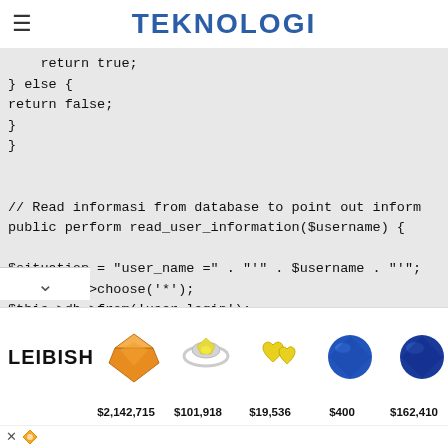TEKNOLOGI
[Figure (screenshot): Code block showing PHP code snippet with } else { return false; } } and // Read informasi from database to point out inform public perform read_user_information($username) { $situation = "user_name =" . "'" . $username . "'"; $this->db->choose('*'); $this->db->from('user_login'); $this->db->the place($situation); $this->db->restrict(1);]
[Figure (other): Advertisement banner for LEIBISH jewelry showing gemstones: orange gem $2,142,715, yellow gem ring $101,918, yellow heart earrings $19,536, blue gem $400, blue round gem $162,410]